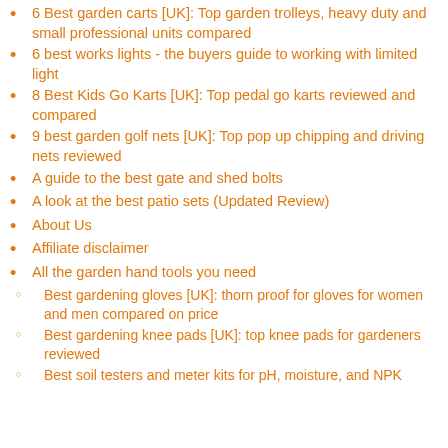6 Best garden carts [UK]: Top garden trolleys, heavy duty and small professional units compared
6 best works lights - the buyers guide to working with limited light
8 Best Kids Go Karts [UK]: Top pedal go karts reviewed and compared
9 best garden golf nets [UK]: Top pop up chipping and driving nets reviewed
A guide to the best gate and shed bolts
A look at the best patio sets (Updated Review)
About Us
Affiliate disclaimer
All the garden hand tools you need
Best gardening gloves [UK]: thorn proof for gloves for women and men compared on price
Best gardening knee pads [UK]: top knee pads for gardeners reviewed
Best soil testers and meter kits for pH, moisture, and NPK